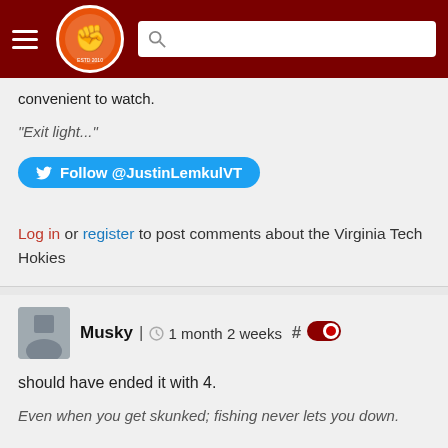[Figure (screenshot): The Key Play website header with hamburger menu, circular orange logo with fist graphic, and white search bar on dark red background]
convenient to watch.
“Exit light...”
[Figure (other): Twitter Follow button: Follow @JustinLemkulVT]
Log in or register to post comments about the Virginia Tech Hokies
Musky | 1 month 2 weeks #
should have ended it with 4.
Even when you get skunked; fishing never lets you down.
Log in or register to post comments about the Virginia Tech Hokies